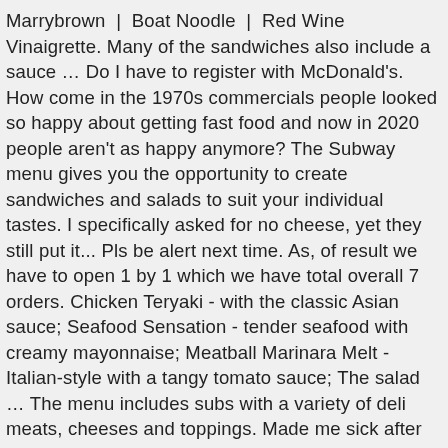Marrybrown | Boat Noodle | Red Wine Vinaigrette. Many of the sandwiches also include a sauce … Do I have to register with McDonald's. How come in the 1970s commercials people looked so happy about getting fast food and now in 2020 people aren't as happy anymore? The Subway menu gives you the opportunity to create sandwiches and salads to suit your individual tastes. I specifically asked for no cheese, yet they still put it... Pls be alert next time. As, of result we have to open 1 by 1 which we have total overall 7 orders. Chicken Teryaki - with the classic Asian sauce; Seafood Sensation - tender seafood with creamy mayonnaise; Meatball Marinara Melt - Italian-style with a tangy tomato sauce; The salad … The menu includes subs with a variety of deli meats, cheeses and toppings. Made me sick after seeing the melted cheese in my wrap!!!!!!!!!!!!!!!!!!!!!! For a more personalised taste, add fresh peppers, oil, vinegar or anything else to suit your liking. Inspired by the hoagie that made Philadelphia famous, our version of the Cheese Steak features mouth-watering slices of lean and